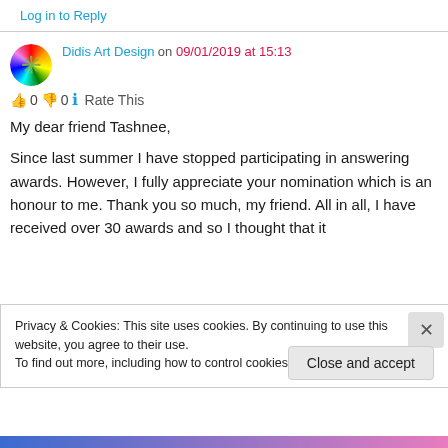Log in to Reply
Didis Art Design on 09/01/2019 at 15:13
👍 0 👎 0 ℹ Rate This
My dear friend Tashnee,

Since last summer I have stopped participating in answering awards. However, I fully appreciate your nomination which is an honour to me. Thank you so much, my friend. All in all, I have received over 30 awards and so I thought that it
Privacy & Cookies: This site uses cookies. By continuing to use this website, you agree to their use.
To find out more, including how to control cookies, see here: Cookie Policy